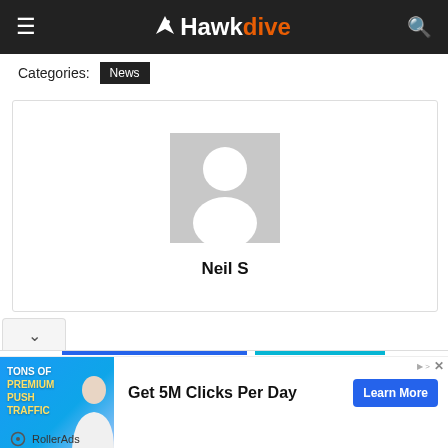Hawkdive
Categories: News
[Figure (illustration): Profile card with placeholder avatar silhouette and name Neil S]
Neil S
[Figure (infographic): Advertisement banner: Tons of Premium Push Traffic - Get 5M Clicks Per Day - Learn More - RollerAds]